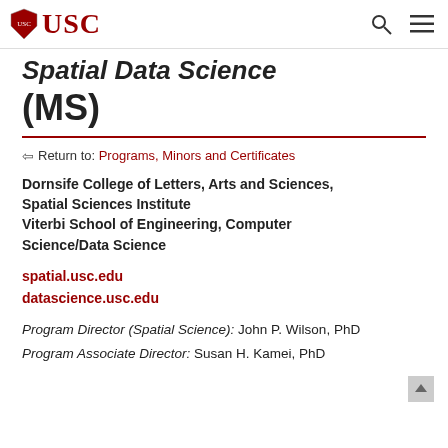USC
Spatial Data Science (MS)
Return to: Programs, Minors and Certificates
Dornsife College of Letters, Arts and Sciences, Spatial Sciences Institute
Viterbi School of Engineering, Computer Science/Data Science
spatial.usc.edu
datascience.usc.edu
Program Director (Spatial Science): John P. Wilson, PhD
Program Associate Director: Susan H. Kamei, PhD